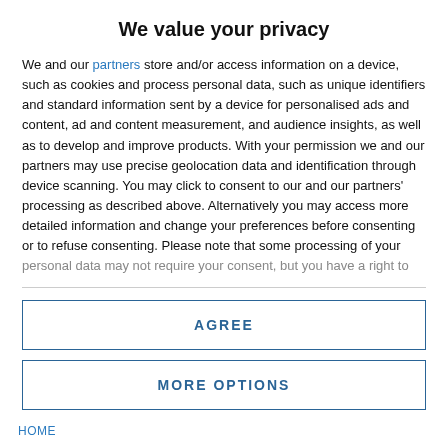We value your privacy
We and our partners store and/or access information on a device, such as cookies and process personal data, such as unique identifiers and standard information sent by a device for personalised ads and content, ad and content measurement, and audience insights, as well as to develop and improve products. With your permission we and our partners may use precise geolocation data and identification through device scanning. You may click to consent to our and our partners' processing as described above. Alternatively you may access more detailed information and change your preferences before consenting or to refuse consenting. Please note that some processing of your personal data may not require your consent, but you have a right to
AGREE
MORE OPTIONS
HOME